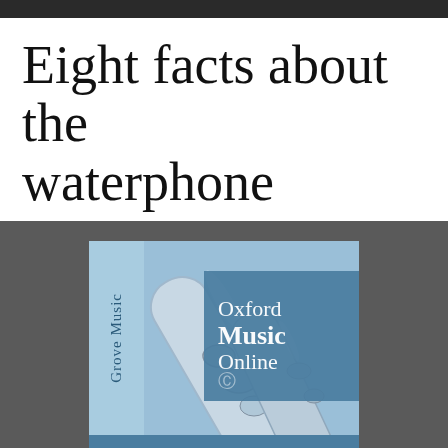Eight facts about the waterphone
[Figure (logo): Oxford Music Online / Grove Music logo showing a flute image with 'Grove Music' text vertically on the left, 'Oxford Music Online' overlay box in blue, and URL www.oxfordmusiconline.com at the bottom]
Grove Music Online